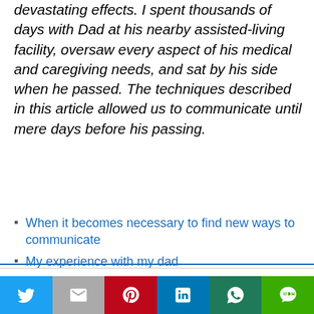devastating effects. I spent thousands of days with Dad at his nearby assisted-living facility, oversaw every aspect of his medical and caregiving needs, and sat by his side when he passed. The techniques described in this article allowed us to communicate until mere days before his passing.
When it becomes necessary to find new ways to communicate
My experience with my dad
This website uses cookies.
[Figure (infographic): Social sharing bar with Twitter, Mail, Pinterest, LinkedIn, WhatsApp, and LINE buttons]